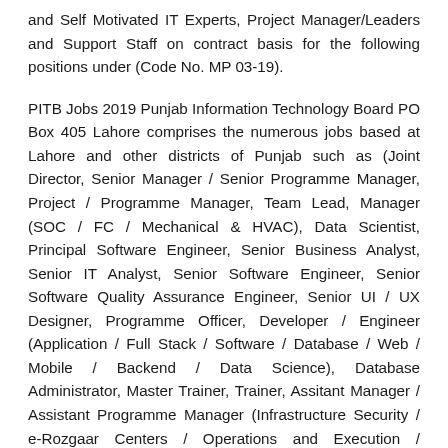and Self Motivated IT Experts, Project Manager/Leaders and Support Staff on contract basis for the following positions under (Code No. MP 03-19).
PITB Jobs 2019 Punjab Information Technology Board PO Box 405 Lahore comprises the numerous jobs based at Lahore and other districts of Punjab such as (Joint Director, Senior Manager / Senior Programme Manager, Project / Programme Manager, Team Lead, Manager (SOC / FC / Mechanical & HVAC), Data Scientist, Principal Software Engineer, Senior Business Analyst, Senior IT Analyst, Senior Software Engineer, Senior Software Quality Assurance Engineer, Senior UI / UX Designer, Programme Officer, Developer / Engineer (Application / Full Stack / Software / Database / Web / Mobile / Backend / Data Science), Database Administrator, Master Trainer, Trainer, Assitant Manager / Assistant Programme Manager (Infrastructure Security / e-Rozgaar Centers / Operations and Execution / Operations / PR), Assistant Programme Officer, Business Development Assistant, Content and Training Advisor, Customer Services